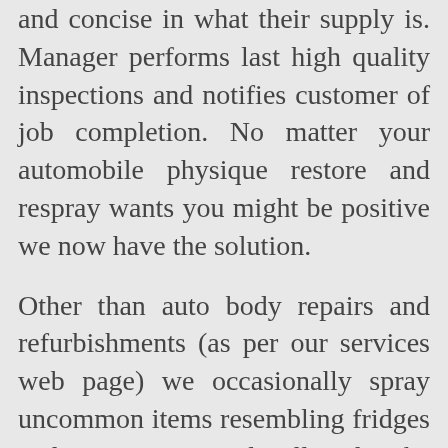and concise in what their supply is. Manager performs last high quality inspections and notifies customer of job completion. No matter your automobile physique restore and respray wants you might be positive we now have the solution.
Other than auto body repairs and refurbishments (as per our services web page) we occasionally spray uncommon items resembling fridges and microwaves and will undertake all method of beauty jobs. We can offer you a like-for-like alternative automobile and cope with your insurance coverage firm.... Read the rest